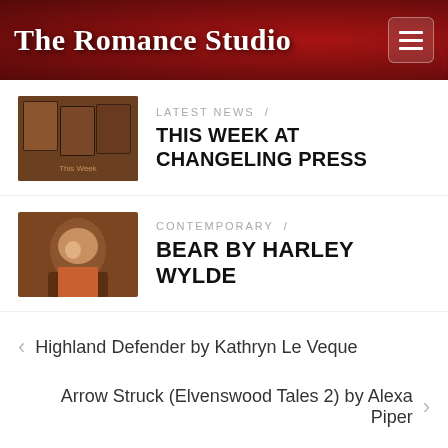The Romance Studio
LATEST NEWS /
THIS WEEK AT CHANGELING PRESS
CONTEMPORARY /
BEAR BY HARLEY WYLDE
< Highland Defender by Kathryn Le Veque
Arrow Struck (Elvenswood Tales 2) by Alexa Piper >